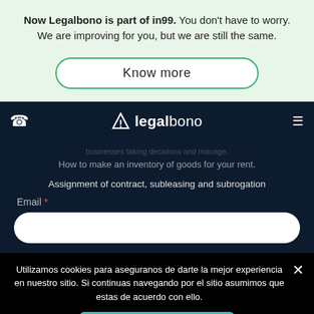Now Legalbono is part of in99. You don't have to worry. We are improving for you, but we are still the same.
[Figure (other): Know more button with green border, pill shape]
[Figure (logo): Legalbono logo with triangle icon on dark navy navbar, with phone icon on left and hamburger menu on right]
How to make an inventory of goods for your rent.
Assignment of contract, subleasing and subrogation
Email *
Utilizamos cookies para aseguranos de darte la mejor experiencia en nuestro sitio. Si continuas navegando por el sitio asumimos que estas de acuerdo con ello.
Acepto